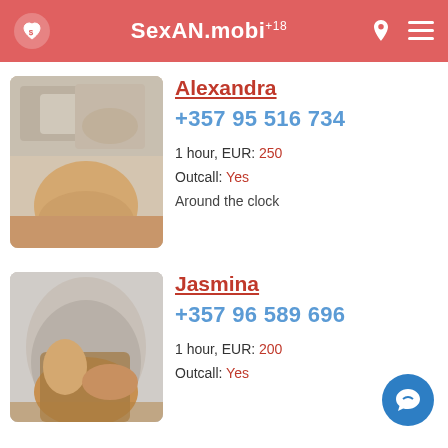SexAN.mobi +18
Alexandra
+357 95 516 734
1 hour, EUR: 250
Outcall: Yes
Around the clock
[Figure (photo): Woman posing on bed with decorative pillows]
Jasmina
+357 96 589 696
1 hour, EUR: 200
Outcall: Yes
[Figure (photo): Woman in leopard print dress on light sofa]